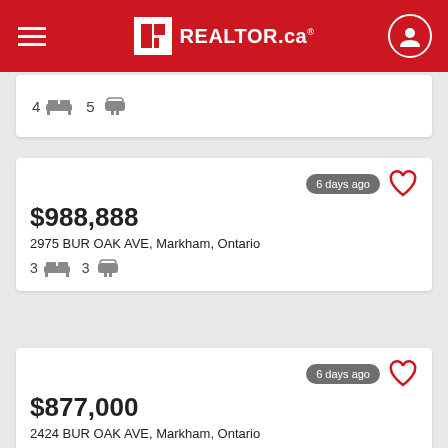REALTOR.ca
4 beds  5 baths
6 days ago
$988,888
2975 BUR OAK AVE, Markham, Ontario
3 beds  3 baths
6 days ago
$877,000
2424 BUR OAK AVE, Markham, Ontario
3 beds  3 baths